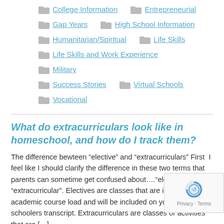College Information | Entrepreneurial
Gap Years | High School Information
Humanitarian/Spiritual | Life Skills
Life Skills and Work Experience | Military
Success Stories | Virtual Schools | Vocational
What do extracurriculars look like in homeschool, and how do I track them?
The difference bewteen “elective” and “extracurriculars” First  I feel like I should clarify the difference in these two terms that parents can sometime get confused about….“elective” and “extracurricular”. Electives are classes that are included in the academic course load and will be included on your high schoolers transcript. Extracurriculars are classes or activities that are […]
30 Questions 30 Days | Community Service
Free Resources | High School Information
Life Skills and Work Experience
Miscellaneous Electives | Sports and Extracurriculars
Wh...